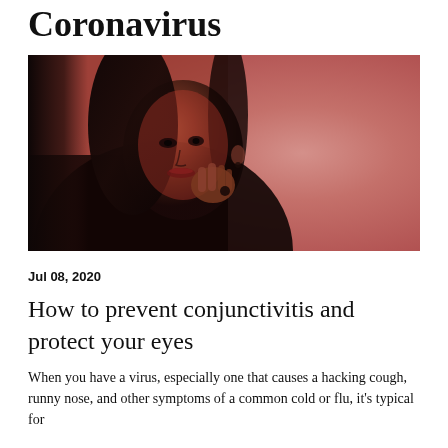Coronavirus
[Figure (photo): Woman with dark hair looking at camera with hand raised near face, lit with red/pink dramatic lighting against a pink background]
Jul 08, 2020
How to prevent conjunctivitis and protect your eyes
When you have a virus, especially one that causes a hacking cough, runny nose, and other symptoms of a common cold or flu, it's typical for